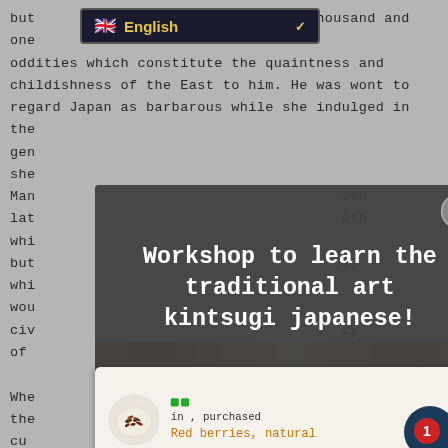but the thousand and one oddities which constitute the quaintness and childishness of the East to him. He was wont to regard Japan as barbarous while she indulged in the gen... she... Man... ven lat... ath whi but... m, whi wou civ... ry of Whe... the cu wou
[Figure (screenshot): Language selector dropdown showing English with UK flag]
[Figure (infographic): Dark overlay modal with text: Workshop to learn the traditional art kintsugi japanese! with close button]
[Figure (photo): Photo strip showing food/craft items in orange-brown tones]
[Figure (infographic): Purchase notification popup: 'in , purchased Red berries, natural' with product image and green dots indicator, close button, red badge with number 1]
Verified by Loestone